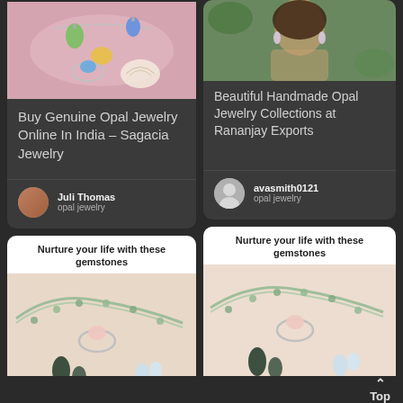[Figure (photo): Colorful opal jewelry including necklaces and rings on pink background]
Buy Genuine Opal Jewelry Online In India – Sagacia Jewelry
Juli Thomas
opal jewelry
[Figure (photo): Woman wearing opal earrings on green background]
Beautiful Handmade Opal Jewelry Collections at Rananjay Exports
avasmith0121
opal jewelry
[Figure (photo): Gemstone bracelet, ring, and earrings on beige background]
Nurture your life with these gemstones
Wear opal jewelry and live your lavish life, as the mystic color of these captivating stones is enough to enrich your life with happiness.
[Figure (photo): Gemstone bracelet, ring, and earrings on beige background]
Nurture your life with these gemstones
Wear opal jewelry and live your lavish life, as the mystic color of these captivating stones is enough to enrich your life with happiness.
Wear opal jewelry and live your lavish life, as the mysto
Buy Nurture Opal